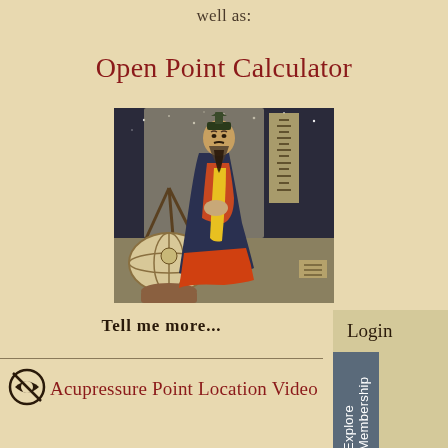well as:
Open Point Calculator
[Figure (illustration): Traditional East Asian woodblock print illustration of a robed sage or scholar standing next to a celestial globe, wearing ornate layered robes with yellow and red sash, beard and hat, with calligraphy text in the background]
Tell me more...
Acupressure Point Location Video
Login
Explore Membership
How
Q&A